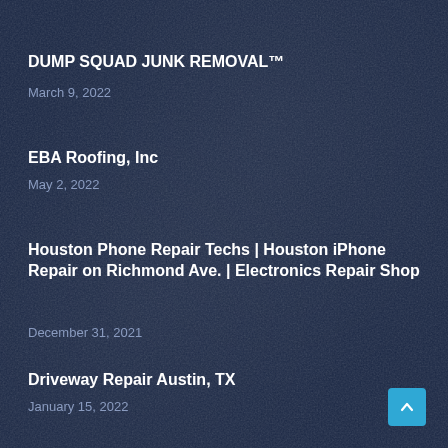DUMP SQUAD JUNK REMOVAL™
March 9, 2022
EBA Roofing, Inc
May 2, 2022
Houston Phone Repair Techs | Houston iPhone Repair on Richmond Ave. | Electronics Repair Shop
December 31, 2021
Driveway Repair Austin, TX
January 15, 2022